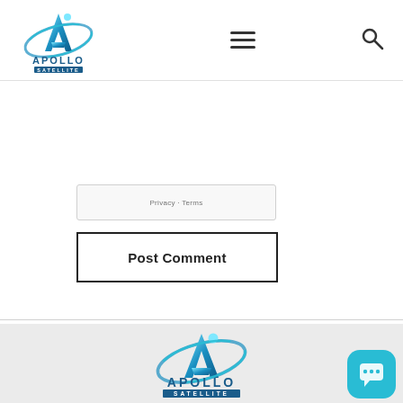[Figure (logo): Apollo Satellite logo in header — blue metallic letter A with orbital ring and dot, text APOLLO SATELLITE below]
[Figure (other): Hamburger menu icon (three horizontal lines)]
[Figure (other): Search magnifying glass icon]
Privacy · Terms
Post Comment
[Figure (logo): Apollo Satellite logo in footer — blue metallic letter A with orbital ring and dot, text APOLLO SATELLITE below]
[Figure (other): Teal chat bubble button with speech bubble icon in bottom right]